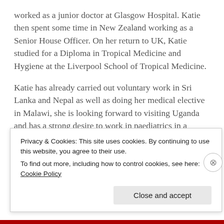worked as a junior doctor at Glasgow Hospital. Katie then spent some time in New Zealand working as a Senior House Officer. On her return to UK, Katie studied for a Diploma in Tropical Medicine and Hygiene at the Liverpool School of Tropical Medicine.
Katie has already carried out voluntary work in Sri Lanka and Nepal as well as doing her medical elective in Malawi, she is looking forward to visiting Uganda and has a strong desire to work in paediatrics in a developing country, where child and maternal morbidity and mortality is disproportionately high, with the majority of under-5
Privacy & Cookies: This site uses cookies. By continuing to use this website, you agree to their use.
To find out more, including how to control cookies, see here: Cookie Policy